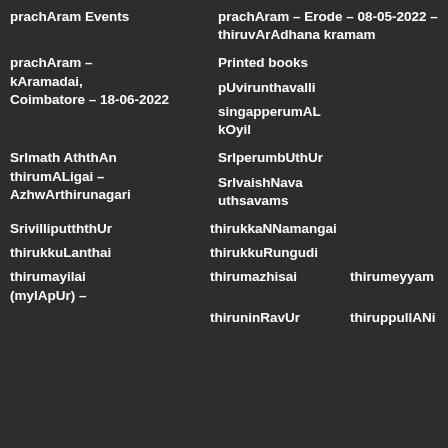| prachAram Events | prachAram – Erode – 08-05-2022 – thiruvArAdhana kramam |  |
| prachAram – kAramadai, Coimbatore – 18-06-2022 | Printed books
pUvirunthavalli
singapperumALkOyil |  |
| SrImath AththAn thirumALigai – AzhwArthirunagari | SrIperumbUthUr
SrIvaishNava uthsavams |  |
| SrivilliputththUr | thirukkaNNamangai |  |
| thirukkuLanthai | thirukkuRungudi |  |
| thirumayilai (mylApUr) – | thirumazhisai    thirumeyyam
thiruninRavUr    thiruppullANi |  |